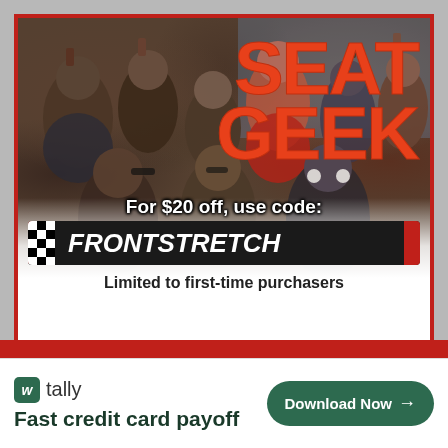[Figure (infographic): SeatGeek advertisement showing a crowd of fans at a racing event with large orange 'SEAT GEEK' text overlay. Below: 'For $20 off, use code:' with 'FRONTSTRETCH' on a black banner with checkered flag logo. Bottom: 'Limited to first-time purchasers']
For $20 off, use code:
FRONTSTRETCH
Limited to first-time purchasers
[Figure (infographic): Tally app advertisement banner: Tally logo with green icon, 'Fast credit card payoff' tagline, and 'Download Now' button with arrow]